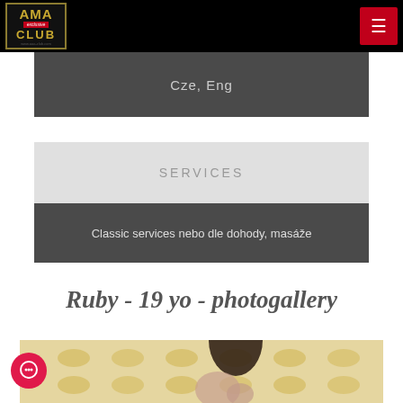AAA exclusive CLUB
Cze, Eng
SERVICES
Classic services nebo dle dohody, masáže
Ruby - 19 yo - photogallery
[Figure (photo): Partial photo of a person in front of a decorative gold and cream wallpaper background]